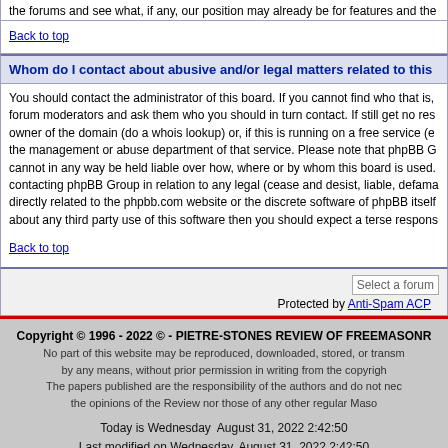the forums and see what, if any, our position may already be for features and the
Back to top
Whom do I contact about abusive and/or legal matters related to this
You should contact the administrator of this board. If you cannot find who that is, forum moderators and ask them who you should in turn contact. If still get no res owner of the domain (do a whois lookup) or, if this is running on a free service (e the management or abuse department of that service. Please note that phpBB G cannot in any way be held liable over how, where or by whom this board is used. contacting phpBB Group in relation to any legal (cease and desist, liable, defama directly related to the phpbb.com website or the discrete software of phpBB itself about any third party use of this software then you should expect a terse respons
Back to top
Select a forum
Protected by Anti-Spam ACP
Copyright © 1996 - 2022 © - PIETRE-STONES REVIEW OF FREEMASONR No part of this website may be reproduced, downloaded, stored, or transm by any means, without prior permission in writing from the copyrigh The papers published are the responsibility of the authors and do not nec the opinions of the Review nor those of any other regular Maso Today is Wednesday August 31, 2022 2:42:50 Last modified on Wednesday, August 31, 2022 2:42:50 Website optimized for Microsoft Explorer 6.0+. Best view with a screen resoluti 7 visitors currently on the site. 140 visitors today (GMT+1) Powered by phpBB © phoBB Group Design by phpBBStyles.com | Styles Database